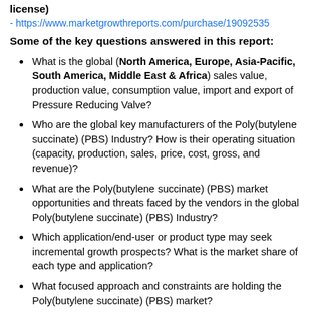license)
- https://www.marketgrowthreports.com/purchase/19092535
Some of the key questions answered in this report:
What is the global (North America, Europe, Asia-Pacific, South America, Middle East & Africa) sales value, production value, consumption value, import and export of Pressure Reducing Valve?
Who are the global key manufacturers of the Poly(butylene succinate) (PBS) Industry? How is their operating situation (capacity, production, sales, price, cost, gross, and revenue)?
What are the Poly(butylene succinate) (PBS) market opportunities and threats faced by the vendors in the global Poly(butylene succinate) (PBS) Industry?
Which application/end-user or product type may seek incremental growth prospects? What is the market share of each type and application?
What focused approach and constraints are holding the Poly(butylene succinate) (PBS) market?
What are the different sales, marketing, and